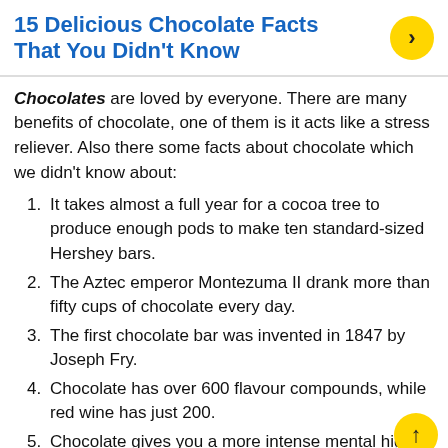15 Delicious Chocolate Facts That You Didn't Know
Chocolates are loved by everyone. There are many benefits of chocolate, one of them is it acts like a stress reliever. Also there some facts about chocolate which we didn't know about:
It takes almost a full year for a cocoa tree to produce enough pods to make ten standard-sized Hershey bars.
The Aztec emperor Montezuma II drank more than fifty cups of chocolate every day.
The first chocolate bar was invented in 1847 by Joseph Fry.
Chocolate has over 600 flavour compounds, while red wine has just 200.
Chocolate gives you a more intense mental high and gets your heart pounding more than kissing does.
Chocolate milk is an effective post-workout recovery